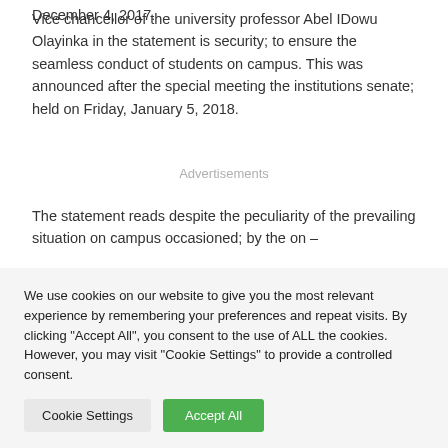December 4, 2017.
Vice chancellor of the university professor Abel IDownu Olayinka in the statement is security; to ensure the seamless conduct of students on campus. This was announced after the special meeting the institutions senate; held on Friday, January 5, 2018.
Advertisements
The statement reads despite the peculiarity of the prevailing situation on campus occasioned; by the on –
We use cookies on our website to give you the most relevant experience by remembering your preferences and repeat visits. By clicking "Accept All", you consent to the use of ALL the cookies. However, you may visit "Cookie Settings" to provide a controlled consent.